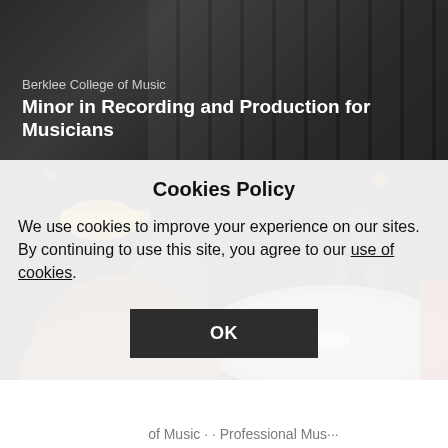[Figure (screenshot): Berklee College of Music website banner showing 'Minor in Recording and Production for Musicians' title over a dark keyboard background]
[Figure (photo): Musicians performing in a dark venue, showing a cymbal in the foreground and musicians in the background]
Cookies Policy
We use cookies to improve your experience on our sites. By continuing to use this site, you agree to our use of cookies.
OK